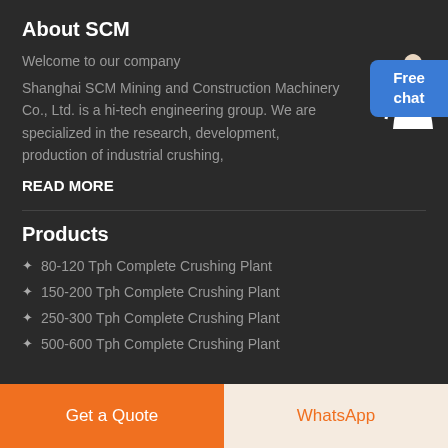About SCM
Welcome to our company
Shanghai SCM Mining and Construction Machinery Co., Ltd. is a hi-tech engineering group. We are specialized in the research, development, production of industrial crushing,
READ MORE
Products
80-120 Tph Complete Crushing Plant
150-200 Tph Complete Crushing Plant
250-300 Tph Complete Crushing Plant
500-600 Tph Complete Crushing Plant
Get a Quote | WhatsApp